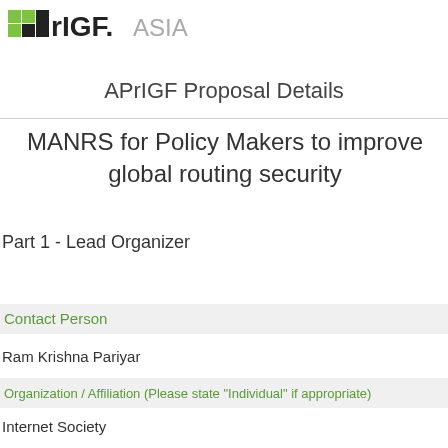[Figure (logo): APrIGF.ASIA logo with green and black geometric design]
APrIGF Proposal Details
MANRS for Policy Makers to improve global routing security
Part 1 - Lead Organizer
Contact Person
Ram Krishna Pariyar
Organization / Affiliation (Please state "Individual" if appropriate)
Internet Society